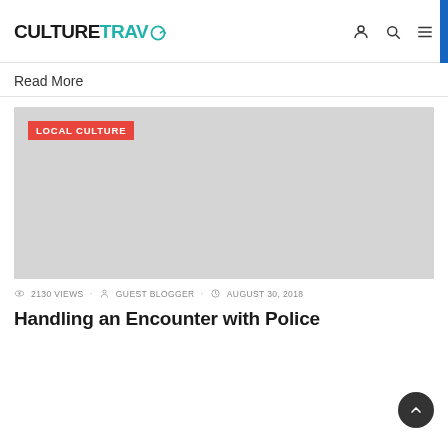CULTURETRAV
Read More
[Figure (photo): Gray placeholder image with a red LOCAL CULTURE category badge in the upper left corner]
2130 VIEWS · GUEST BLOGGER · AUGUST 30, 2018
Handling an Encounter with Police